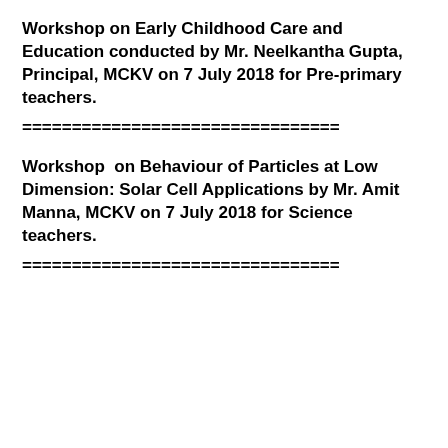Workshop on Early Childhood Care and Education conducted by Mr. Neelkantha Gupta, Principal, MCKV on 7 July 2018 for Pre-primary teachers.
================================
Workshop  on Behaviour of Particles at Low Dimension: Solar Cell Applications by Mr. Amit Manna, MCKV on 7 July 2018 for Science teachers.
================================